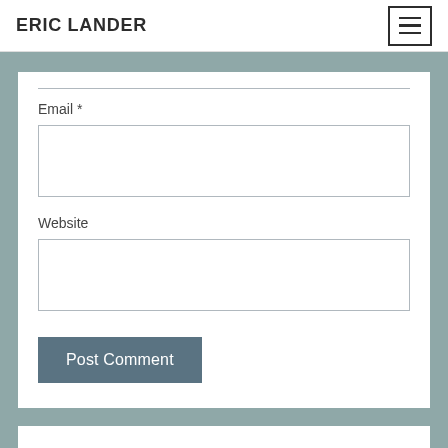ERIC LANDER
Email *
[Figure (screenshot): Empty text input field for Email]
Website
[Figure (screenshot): Empty text input field for Website]
Post Comment